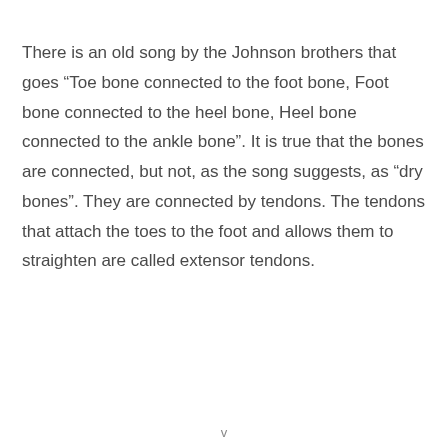There is an old song by the Johnson brothers that goes “Toe bone connected to the foot bone, Foot bone connected to the heel bone, Heel bone connected to the ankle bone”. It is true that the bones are connected, but not, as the song suggests, as “dry bones”. They are connected by tendons. The tendons that attach the toes to the foot and allows them to straighten are called extensor tendons.
v